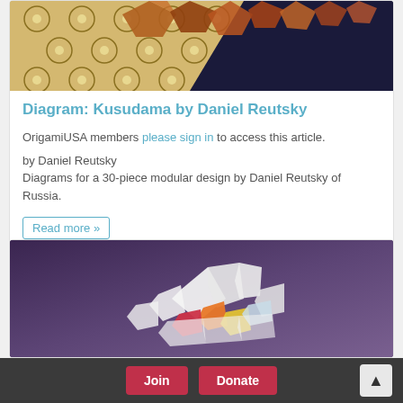[Figure (photo): Photo of origami kusudama shapes on a decorative patterned background with blue/brown motifs and dark fabric]
Diagram: Kusudama by Daniel Reutsky
OrigamiUSA members please sign in to access this article.
by Daniel Reutsky
Diagrams for a 30-piece modular design by Daniel Reutsky of Russia.
Read more »
[Figure (photo): Photo of colorful origami paper pieces arranged on a purple background, showing folded white, orange, red, and yellow paper shapes]
Join   Donate